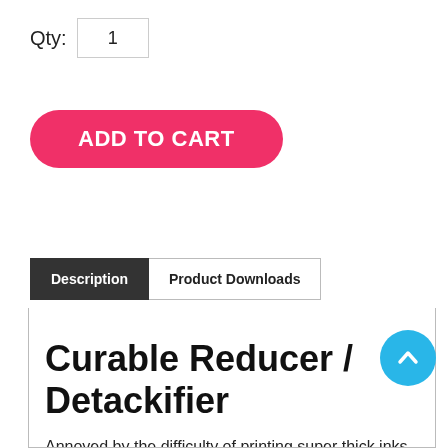Qty: 1
ADD TO CART
Description | Product Downloads
Curable Reducer / Detackifier
Annoyed by the difficulty of printing super thick inks like poly whites and yellows? Try adding some